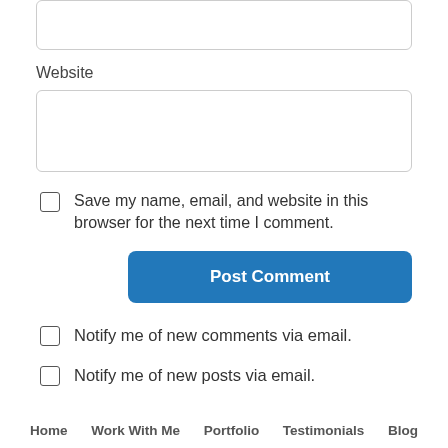Website
Save my name, email, and website in this browser for the next time I comment.
Post Comment
Notify me of new comments via email.
Notify me of new posts via email.
Home   Work With Me   Portfolio   Testimonials   Blog